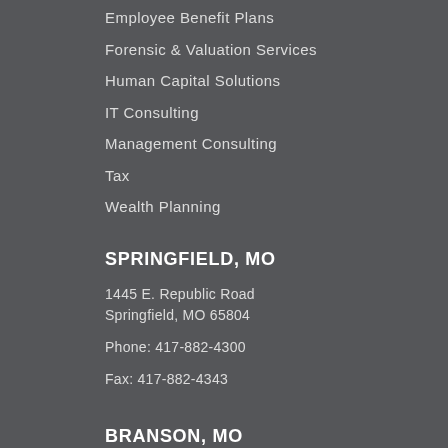Employee Benefit Plans
Forensic & Valuation Services
Human Capital Solutions
IT Consulting
Management Consulting
Tax
Wealth Planning
SPRINGFIELD, MO
1445 E. Republic Road
Springfield, MO 65804
Phone: 417-882-4300
Fax: 417-882-4343
BRANSON, MO
500 W. Main Street, Suite 200
Branson, MO 65616